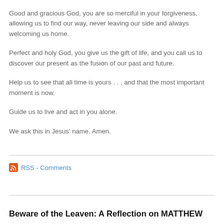Good and gracious God, you are so merciful in your forgiveness, allowing us to find our way, never leaving our side and always welcoming us home.
Perfect and holy God, you give us the gift of life, and you call us to discover our present as the fusion of our past and future.
Help us to see that all time is yours . . . and that the most important moment is now.
Guide us to live and act in you alone.
We ask this in Jesus' name. Amen.
RSS - Comments
Beware of the Leaven: A Reflection on MATTHEW